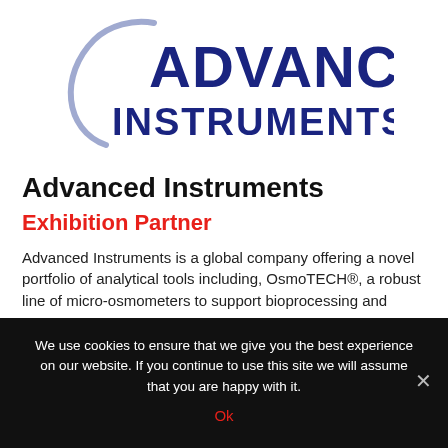[Figure (logo): Advanced Instruments logo: large dark blue bold text 'ADVANCED INSTRUMENTS' with a light blue arc/swoosh graphic to the left]
Advanced Instruments
Exhibition Partner
Advanced Instruments is a global company offering a novel portfolio of analytical tools including, OsmoTECH®, a robust line of micro-osmometers to support bioprocessing and
We use cookies to ensure that we give you the best experience on our website. If you continue to use this site we will assume that you are happy with it.
Ok